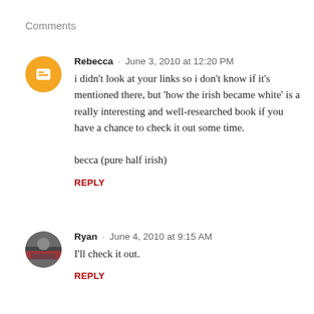Comments
Rebecca · June 3, 2010 at 12:20 PM
i didn't look at your links so i don't know if it's mentioned there, but 'how the irish became white' is a really interesting and well-researched book if you have a chance to check it out some time.

becca (pure half irish)
REPLY
Ryan · June 4, 2010 at 9:15 AM
I'll check it out.
REPLY